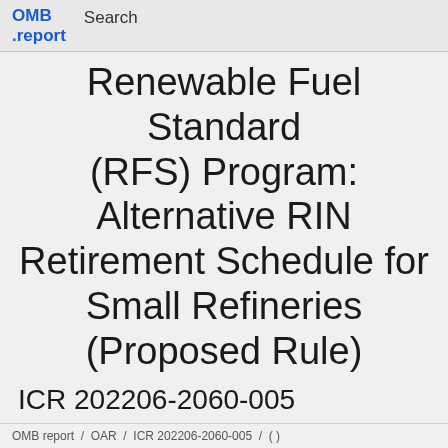OMB .report   Search
Renewable Fuel Standard (RFS) Program: Alternative RIN Retirement Schedule for Small Refineries (Proposed Rule)
ICR 202206-2060-005
OMB:
Federal Form Document
OMB report  /  OAR  /  ICR 202206-2060-005  /  ( )